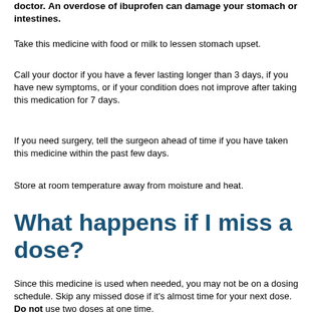doctor. An overdose of ibuprofen can damage your stomach or intestines.
Take this medicine with food or milk to lessen stomach upset.
Call your doctor if you have a fever lasting longer than 3 days, if you have new symptoms, or if your condition does not improve after taking this medication for 7 days.
If you need surgery, tell the surgeon ahead of time if you have taken this medicine within the past few days.
Store at room temperature away from moisture and heat.
What happens if I miss a dose?
Since this medicine is used when needed, you may not be on a dosing schedule. Skip any missed dose if it's almost time for your next dose. Do not use two doses at one time.